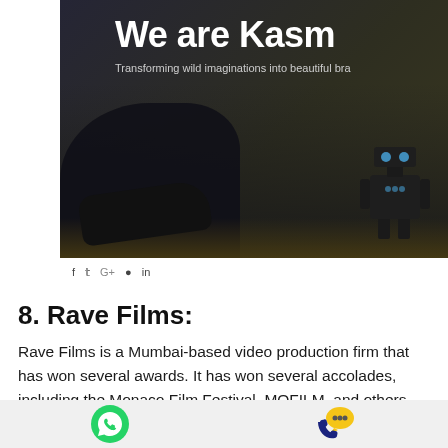[Figure (screenshot): Screenshot of a website hero section showing 'We are Kasn...' heading with subtitle 'Transforming wild imaginations into beautiful bra...' over a dark background image featuring a hand and robot figure. Social media icons visible below the hero image.]
8. Rave Films:
Rave Films is a Mumbai-based video production firm that has won several awards. It has won several accolades, including the Monaco Film Festival, MOFILM, and others.
They are unrivaled in their ability to produce TV
[Figure (illustration): Bottom bar with WhatsApp green phone icon on the left and a yellow speech bubble with phone receiver icon on the right, on a light grey background.]